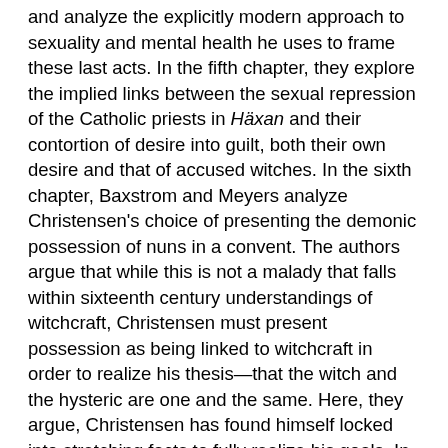and analyze the explicitly modern approach to sexuality and mental health he uses to frame these last acts. In the fifth chapter, they explore the implied links between the sexual repression of the Catholic priests in Häxan and their contortion of desire into guilt, both their own desire and that of accused witches. In the sixth chapter, Baxstrom and Meyers analyze Christensen's choice of presenting the demonic possession of nuns in a convent. The authors argue that while this is not a malady that falls within sixteenth century understandings of witchcraft, Christensen must present possession as being linked to witchcraft in order to realize his thesis—that the witch and the hysteric are one and the same. Here, they argue, Christensen has found himself locked into stretching facts to fully realize his goals. In chapter seven, Baxstrom and Meyers discuss how Christensen's presentation of hysterics in the modern day was fairly generalized and ignored post-war male sufferers of hysteria (what we would now call post-traumatic stress disorder). The authors also explore how Christensen was forced into a more explicit, textual explanation at the end of his film, as he could no longer rely on presenting the witch, or the hysteric, in a visceral, cinematic way. The postscript places Häxan within the